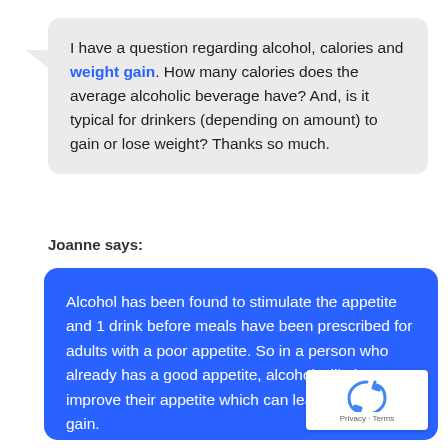I have a question regarding alcohol, calories and weight gain. How many calories does the average alcoholic beverage have? And, is it typical for drinkers (depending on amount) to gain or lose weight? Thanks so much.
Joanne says:
Alcohol has been found to stimulate the appetite and 1 drink before meals have been prescribed for adults with a poor appetite. So in a person who already has a good appetite, alcohol will also improve their appetite which can lead to weight gain.

The following describes 1 alcohol drink or 1 alcohol unit.